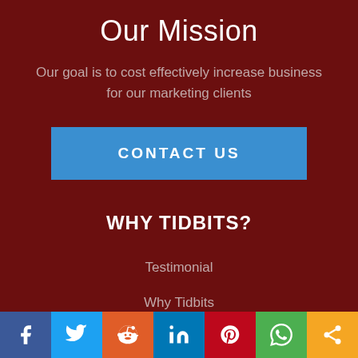Our Mission
Our goal is to cost effectively increase business for our marketing clients
Contact Us
WHY TIDBITS?
Testimonial
Why Tidbits
About
[Figure (infographic): Social media sharing bar with icons for Facebook, Twitter, Reddit, LinkedIn, Pinterest, WhatsApp, and Share]